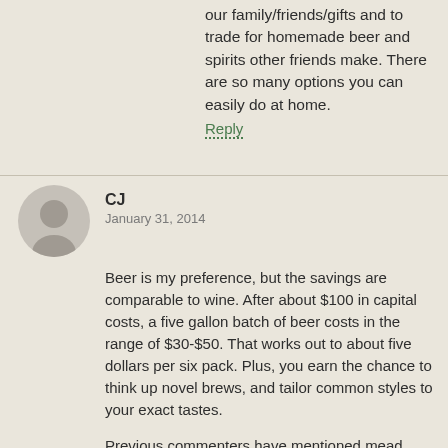our family/friends/gifts and to trade for homemade beer and spirits other friends make. There are so many options you can easily do at home.
Reply
CJ
January 31, 2014
Beer is my preference, but the savings are comparable to wine. After about $100 in capital costs, a five gallon batch of beer costs in the range of $30-$50. That works out to about five dollars per six pack. Plus, you earn the chance to think up novel brews, and tailor common styles to your exact tastes.
Previous commenters have mentioned mead, and that is an underexplored area. There's a batch of habanero mead ageing upstaris now, and I have plans in the works for jalapeno, rose, and cirtus-basil, for example. This is another case of Costco being exceptional value; their honey is not synthetic, very well filtered, tasty, and cheap. Just be sure to use a mead yeast, and not a campaign one.
In short, homebrewing is an excellent way to unleash your hedonist without opening up your bank account